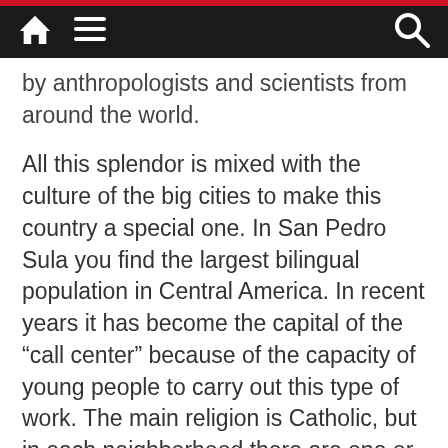Navigation bar with home, menu, and search icons
by anthropologists and scientists from around the world.
All this splendor is mixed with the culture of the big cities to make this country a special one. In San Pedro Sula you find the largest bilingual population in Central America. In recent years it has become the capital of the “call center” because of the capacity of young people to carry out this type of work. The main religion is Catholic, but in each neighborhood there are one or two Evangelical Christian churches, also professed Adventists, Lutherans, Mormons and Jews. Among the foreign communities, there are